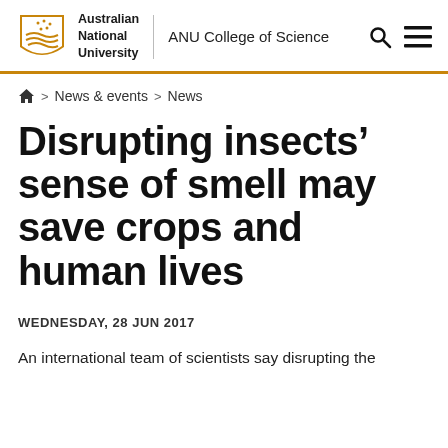Australian National University | ANU College of Science
🏠 > News & events > News
Disrupting insects' sense of smell may save crops and human lives
WEDNESDAY, 28 JUN 2017
An international team of scientists say disrupting the